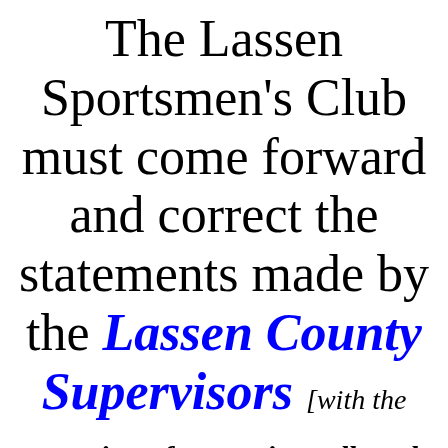The Lassen Sportsmen's Club must come forward and correct the statements made by the Lassen County Supervisors [with the exception of Supervisor Albaugh who voted NO on the Lassen Sportsmen